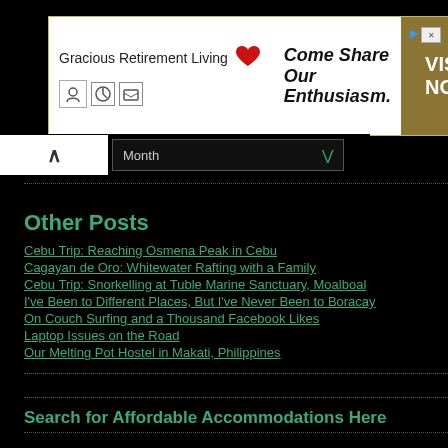[Figure (other): Advertisement banner for Gracious Retirement Living: 'Come Share Our Enthusiasm. VISIT NOW!']
[Figure (other): Navigation bar with up arrow button and Month dropdown selector]
Other Posts
Cebu Trip: Reaching Osmena Peak in Cebu
Cagayan de Oro: Whitewater Rafting with a Family
Cebu Trip: Snorkelling at Tuble Marine Sanctuary, Moalboal
I've Been to Different Places, But I've Never Been to Boracay
On Couch Surfing and a Thousand Facebook Likes
Laptop Issues on the Road
Our Melting Pot Hostel in Makati, Philippines
Search for Affordable Accommodations Here
Related Articles